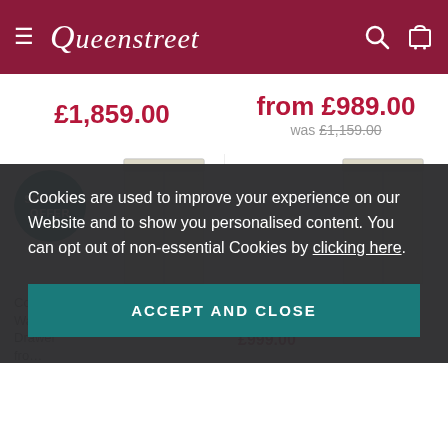Queenstreet
£1,859.00
from £989.00 was £1,159.00
[Figure (screenshot): Two wardrobe product images with a SPECIAL OFFER badge on the left product]
Colour… Wardrobe with 1 Drawer from £979.00
…show All Hanging Wardrobe £999.00
Cookies are used to improve your experience on our Website and to show you personalised content. You can opt out of non-essential Cookies by clicking here.
ACCEPT AND CLOSE